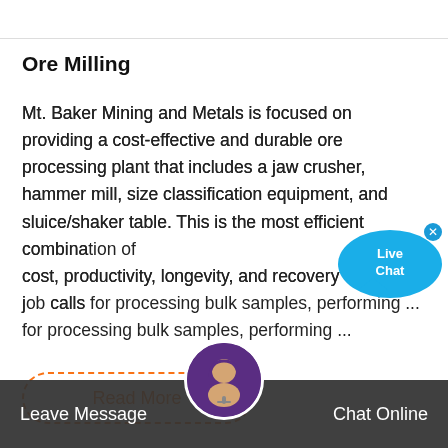Ore Milling
Mt. Baker Mining and Metals is focused on providing a cost-effective and durable ore processing plant that includes a jaw crusher, hammer mill, size classification equipment, and sluice/shaker table. This is the most efficient combination of cost, productivity, longevity, and recovery when the job calls for processing bulk samples, performing ...
Read More
URANIUM MINING AND MILLING IN ROMANIA
2016 5 19 · URANIUM ORE PROCESSING RESEARCH FOR ADVANCED TECHNOLOGY TO URANIUM ...